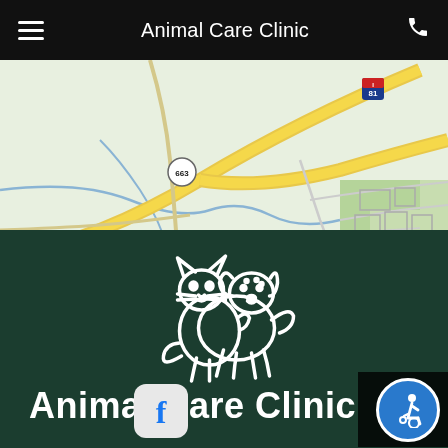Animal Care Clinic
[Figure (map): Google Maps view showing highway I-81 and road 663 in a suburban/rural area with green and white terrain]
[Figure (logo): White outline illustration of a cat and dog together on dark green background]
Animal Care Clinic
[Figure (screenshot): Facebook social media icon button (f logo on light gray rounded square background)]
[Figure (illustration): Blue circular accessibility icon button]